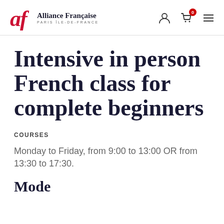[Figure (logo): Alliance Française Paris Île-de-France logo with red 'af' script and brand name text]
Intensive in person French class for complete beginners
COURSES
Monday to Friday, from 9:00 to 13:00 OR from 13:30 to 17:30.
Mode